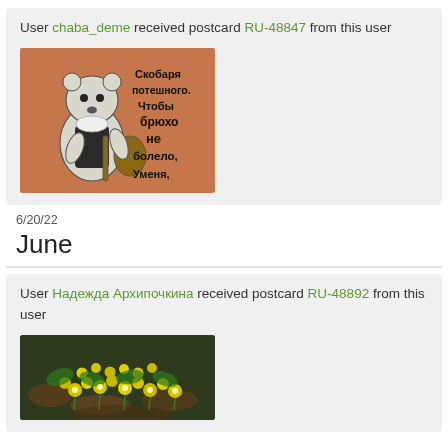User chaba_deme received postcard RU-48847 from this user
[Figure (illustration): Postcard showing a bear in an apron playing a balalaika, with Russian text that reads: Скобаря потешного. Чтобы брюхо не болело, Уменя,]
6/20/22
June
User Надежда Архипочкина received postcard RU-48892 from this user
[Figure (photo): Photo of small yellow flowers growing among leaf litter on the ground]